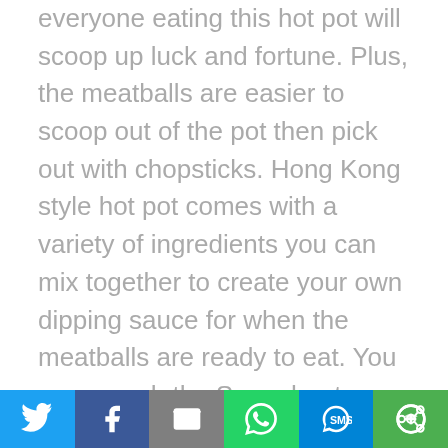everyone eating this hot pot will scoop up luck and fortune. Plus, the meatballs are easier to scoop out of the pot then pick out with chopsticks. Hong Kong style hot pot comes with a variety of ingredients you can mix together to create your own dipping sauce for when the meatballs are ready to eat. You can search the Spoonhunt app for “Doulao” to find the nearest Macau Bean Scoop restaurant. Yunnan Flavor Hot Pot (云南菌子火锅) Specialty: Vegetarian (Mushrooms) Broth: Mushroom and vegetable stock Popular Ingredients: All kind of Mushrooms, Tofu, Sprouts, Rice Noodles, Chinese Cabbage Heads up vegetarians, this hot pot
Share buttons: Twitter, Facebook, Email, WhatsApp, SMS, More